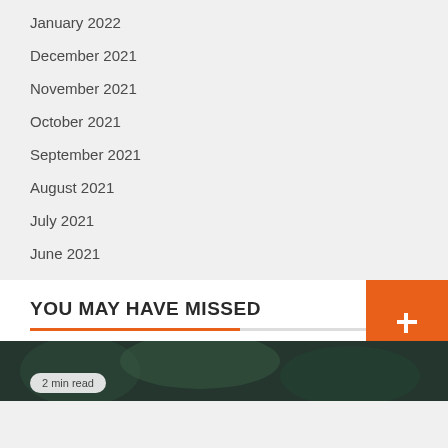January 2022
December 2021
November 2021
October 2021
September 2021
August 2021
July 2021
June 2021
YOU MAY HAVE MISSED
[Figure (photo): Dark green foliage photo strip at the bottom of the page with a '2 min read' badge overlay]
2 min read